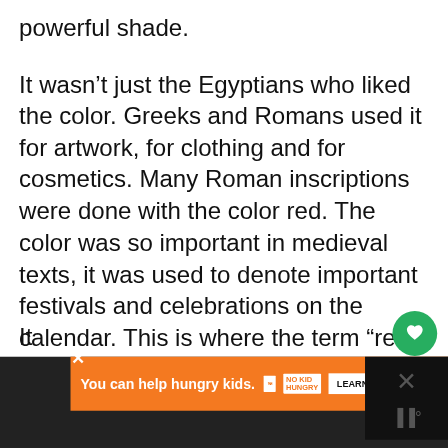powerful shade.
It wasn’t just the Egyptians who liked the color. Greeks and Romans used it for artwork, for clothing and for cosmetics. Many Roman inscriptions were done with the color red. The color was so important in medieval texts, it was used to denote important festivals and celebrations on the calendar. This is where the term “red letter day” comes from.
Royal Red
It
[Figure (screenshot): Orange advertisement banner: 'You can help hungry kids. NO KID HUNGRY LEARN HOW' with close button]